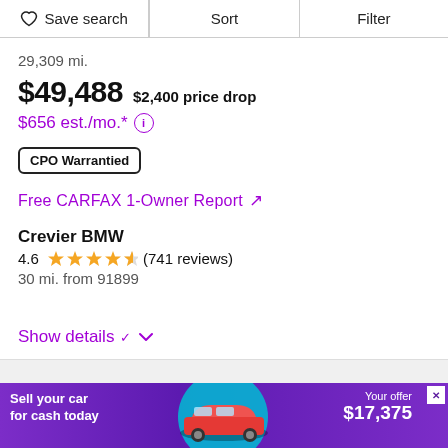Save search | Sort | Filter
29,309 mi.
$49,488  $2,400 price drop
$656 est./mo.*
CPO Warrantied
Free CARFAX 1-Owner Report ↗
Crevier BMW
4.6 ★★★★½ (741 reviews)
30 mi. from 91899
Show details
[Figure (other): Advertisement banner: Sell your car for cash today. Your offer $17,375 with image of red car.]